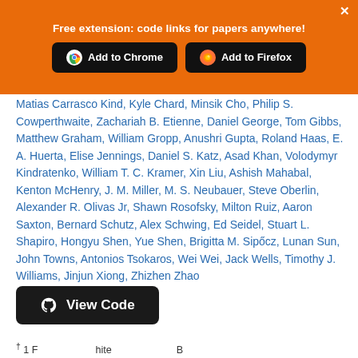Free extension: code links for papers anywhere!
Add to Chrome | Add to Firefox
Matias Carrasco Kind, Kyle Chard, Minsik Cho, Philip S. Cowperthwaite, Zachariah B. Etienne, Daniel George, Tom Gibbs, Matthew Graham, William Gropp, Anushri Gupta, Roland Haas, E. A. Huerta, Elise Jennings, Daniel S. Katz, Asad Khan, Volodymyr Kindratenko, William T. C. Kramer, Xin Liu, Ashish Mahabal, Kenton McHenry, J. M. Miller, M. S. Neubauer, Steve Oberlin, Alexander R. Olivas Jr, Shawn Rosofsky, Milton Ruiz, Aaron Saxton, Bernard Schutz, Alex Schwing, Ed Seidel, Stuart L. Shapiro, Hongyu Shen, Yue Shen, Brigitta M. Sipőcz, Lunan Sun, John Towns, Antonios Tsokaros, Wei Wei, Jack Wells, Timothy J. Williams, Jinjun Xiong, Zhizhen Zhao
View Code
† 1 F... a f... a White... a b... a the "B...